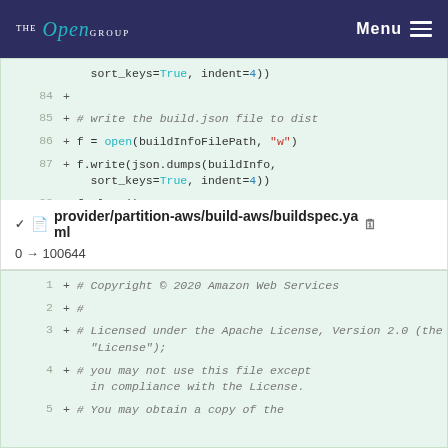THE Open GROUP Menu
[Figure (screenshot): Code diff block showing lines 84-88 with Python code: sort_keys=True indent=4, blank line 84, comment line 85 write the build.json file to dist, line 86 f = open(buildInfoFilePath w), line 87 f.write(json.dumps(buildInfo sort_keys=True indent=4)), line 88 f.close()]
provider/partition-aws/build-aws/buildspec.yaml  0 → 100644
[Figure (screenshot): Code diff block showing lines 1-5 with YAML comments: line 1 # Copyright 2020 Amazon Web Services, line 2 #, line 3 # Licensed under the Apache License Version 2.0 the License, line 4 # you may not use this file except in compliance with the License, line 5 # You may obtain a copy of the]